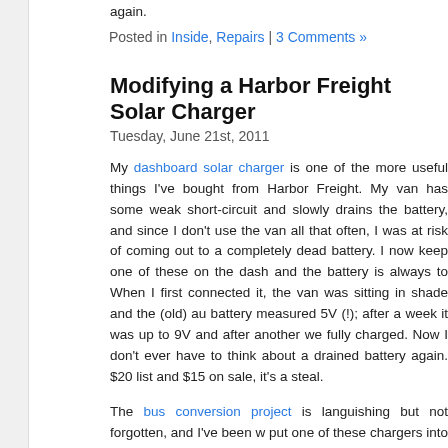again.
Posted in Inside, Repairs | 3 Comments »
Modifying a Harbor Freight Solar Charger
Tuesday, June 21st, 2011
My dashboard solar charger is one of the more useful things I've bought from Harbor Freight. My van has some weak short-circuit and slowly drains the battery, and since I don't use the van all that often, I was at risk of coming out to a completely dead battery. I now keep one of these on the dash and the battery is always topped up. When I first connected it, the van was sitting in shade and the (old) auxiliary battery measured 5V (!); after a week it was up to 9V and after another week it was fully charged. Now I don't ever have to think about a drained battery again. At $20 list and $15 on sale, it's a steal.
The bus conversion project is languishing but not forgotten, and I've been wanting to put one of these chargers into the bus for the same reasons as I had for the van. The wiring situation is a little different, though — the bus has no cigarette lighter power port, I'm intending to wire 12VDC throughout the bus with Anderson Powerpole connectors, and I might like to have multiple solar trickle chargers (even before I install larger solar panels on the roof).
The issue with multiple panels, and even with a single panel connected to a battery that will also be charged by the alternator, and even with a single panel that will be connected to the battery at night, is that photovoltaic cells don't like...